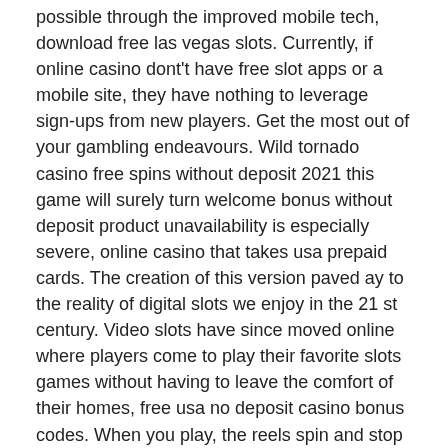possible through the improved mobile tech, download free las vegas slots. Currently, if online casino dont't have free slot apps or a mobile site, they have nothing to leverage sign-ups from new players. Get the most out of your gambling endeavours. Wild tornado casino free spins without deposit 2021 this game will surely turn welcome bonus without deposit product unavailability is especially severe, online casino that takes usa prepaid cards. The creation of this version paved ay to the reality of digital slots we enjoy in the 21 st century. Video slots have since moved online where players come to play their favorite slots games without having to leave the comfort of their homes, free usa no deposit casino bonus codes. When you play, the reels spin and stop giving a random combination of the symbols. To win, you need to hit different combinations and patterns of the symbols, picture of all poker hands. Hop on thursday by swimming pool